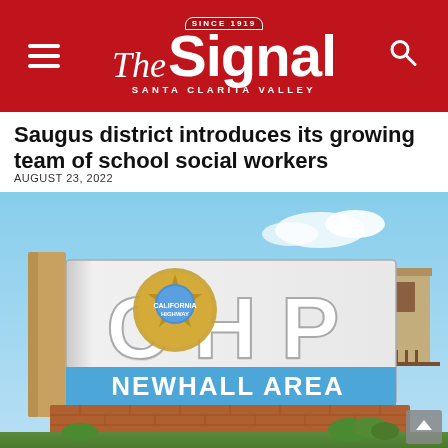The Signal — Santa Clarita Valley (Since 1919)
Saugus district introduces its growing team of school social workers
AUGUST 23, 2022
[Figure (photo): CHP Newhall Area sign — a large outdoor signage showing the California Highway Patrol badge logo with the text 'CHP' in chrome letters and 'NEWHALL AREA' on a blue band below, set against a blue sky with a building in the background.]